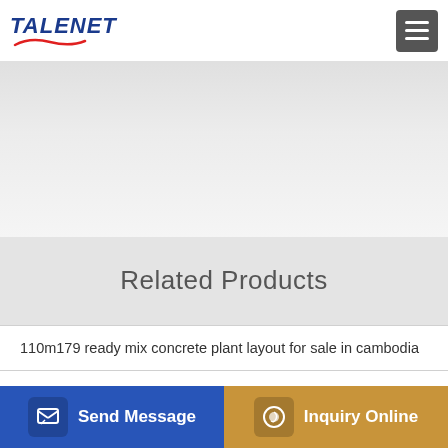TALENET
[Figure (other): Large white/grey empty content area below the navigation header]
Related Products
110m179 ready mix concrete plant layout for sale in cambodia
Camfaud Concrete Pumps Limited and David Faud SERVICE
Daewon Mixer Truck DXY5310 daewoo concrete mixer truck
Asphalt Batch Mix Plant Manufacturer in India Asphalt Batch
Send Message | Inquiry Online